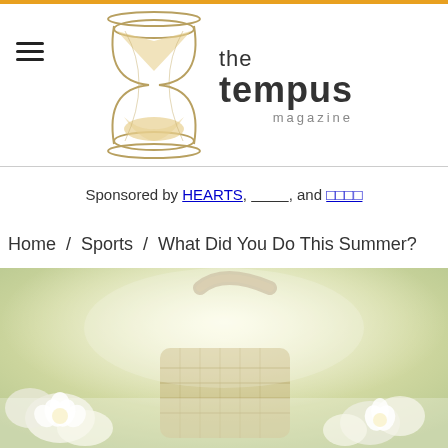[Figure (logo): The Tempus Magazine logo — hourglass illustration with text 'the tempus magazine']
Sponsored by HEARTS, __________, and □□□□
Home / Sports / What Did You Do This Summer?
[Figure (photo): A soft-focus summer photo showing white flowers and a wicker basket in a sunny outdoor setting]